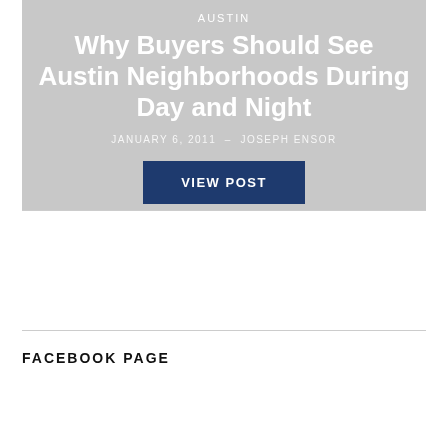AUSTIN
Why Buyers Should See Austin Neighborhoods During Day and Night
JANUARY 6, 2011 — JOSEPH ENSOR
VIEW POST
FACEBOOK PAGE